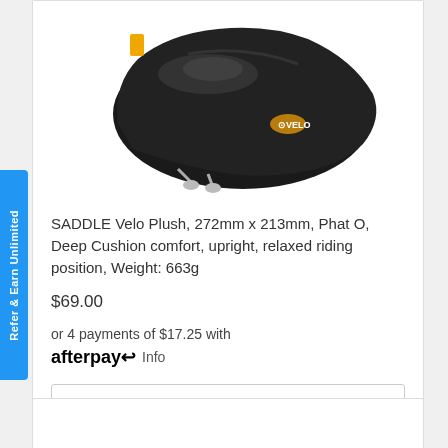[Figure (photo): Black Velo bicycle saddle (seat) viewed from above and side, with yellow logo detail, on white background]
SADDLE Velo Plush, 272mm x 213mm, Phat O, Deep Cushion comfort, upright, relaxed riding position, Weight: 663g
$69.00
or 4 payments of $17.25 with afterpay Info